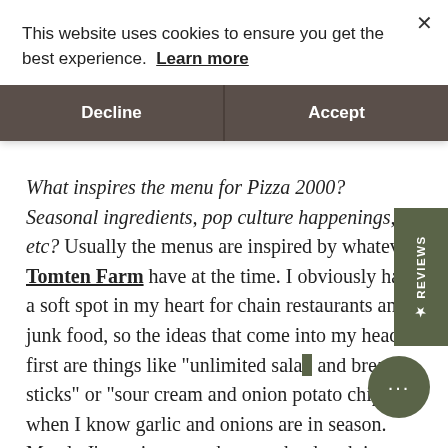This website uses cookies to ensure you get the best experience. Learn more
Decline | Accept
What inspires the menu for Pizza 2000? Seasonal ingredients, pop culture happenings, etc? Usually the menus are inspired by whatever Tomten Farm have at the time. I obviously have a soft spot in my heart for chain restaurants and junk food, so the ideas that come into my head first are things like "unlimited salad and bread sticks" or "sour cream and onion potato chips" when I know garlic and onions are in season. Mostly I'm trying to make sure the dough is as good as it can be, and when that happens it almost doesn't matter what's on top in a certain sense. Whatever the menu is and even when it sounds sort of ridiculous, I'm trying to make good pizza that people feel good about